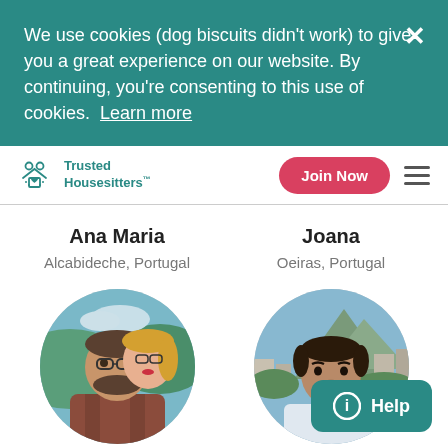We use cookies (dog biscuits didn't work) to give you a great experience on our website. By continuing, you're consenting to this use of cookies. Learn more
[Figure (logo): Trusted Housesitters logo with teal icon of people/house and text]
Join Now
Ana Maria
Alcabideche, Portugal
[Figure (photo): Circular profile photo of a couple, man with beard and woman with glasses and red lipstick]
Joana
Oeiras, Portugal
[Figure (photo): Circular profile photo of a young man with mountain/city landscape background]
Help